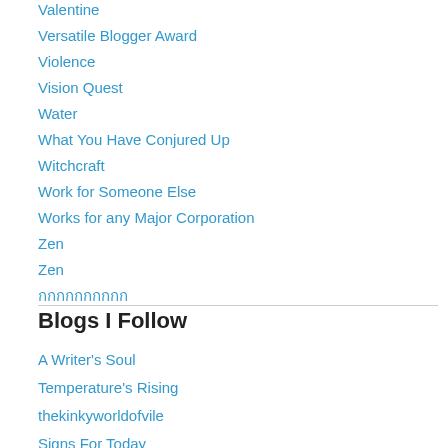Valentine
Versatile Blogger Award
Violence
Vision Quest
Water
What You Have Conjured Up
Witchcraft
Work for Someone Else
Works for any Major Corporation
Zen
Zen
กกกกกกกกกก
Blogs I Follow
A Writer's Soul
Temperature's Rising
thekinkyworldofvile
Signs For Today